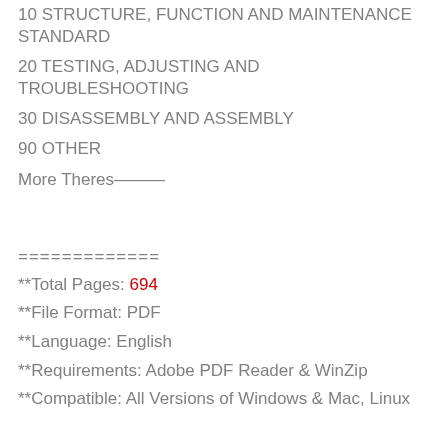10 STRUCTURE, FUNCTION AND MAINTENANCE STANDARD
20 TESTING, ADJUSTING AND TROUBLESHOOTING
30 DISASSEMBLY AND ASSEMBLY
90 OTHER
More Theres———
=============
**Total Pages: 694
**File Format: PDF
**Language: English
**Requirements: Adobe PDF Reader & WinZip
**Compatible: All Versions of Windows & Mac, Linux